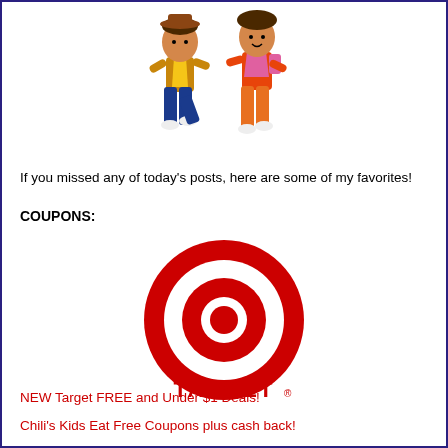[Figure (illustration): Two cartoon characters (children) dancing or walking, wearing colorful outfits]
If you missed any of today's posts, here are some of my favorites!
COUPONS:
[Figure (logo): Target bullseye logo with red concentric circles and TARGET wordmark in red below]
NEW Target FREE and Under $1 Deals!
Chili's Kids Eat Free Coupons plus cash back!